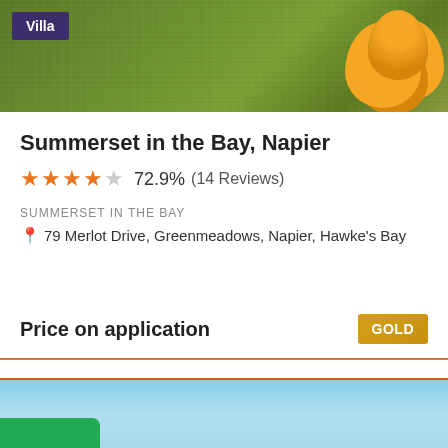[Figure (photo): Aerial or landscape view of green lawn/garden area with orange fruit tree visible at top right, with a purple 'Villa' badge overlay in the top left corner.]
Summerset in the Bay, Napier
★★★★☆ 72.9% (14 Reviews)
SUMMERSET IN THE BAY
📍 79 Merlot Drive, Greenmeadows, Napier, Hawke's Bay
Price on application
GOLD